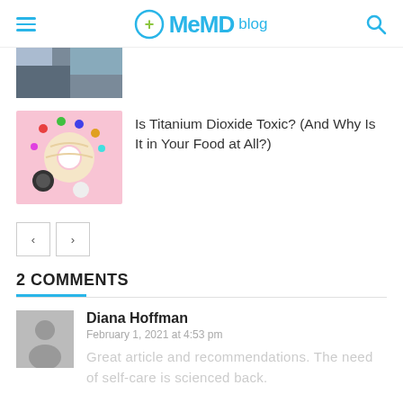MeMD blog
[Figure (photo): Partial view of a photo at the top of the page, cropped]
[Figure (photo): Donuts and candy on a pink background]
Is Titanium Dioxide Toxic? (And Why Is It in Your Food at All?)
< >
2 COMMENTS
[Figure (photo): Grey avatar placeholder silhouette]
Diana Hoffman
February 1, 2021 at 4:53 pm
Great article and recommendations. The need of self-care is scienced back.